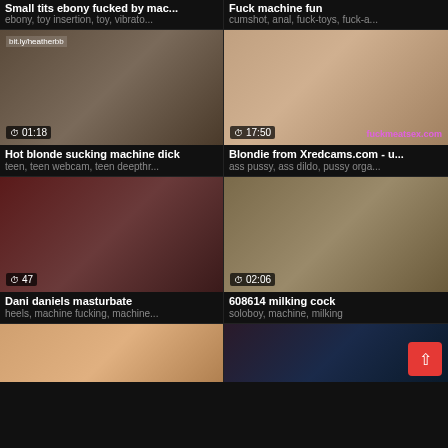Small tits ebony fucked by mac... | ebony, toy insertion, toy, vibrato...
Fuck machine fun | cumshot, anal, fuck-toys, fuck-a...
[Figure (photo): Video thumbnail with duration 01:18]
Hot blonde sucking machine dick
teen, teen webcam, teen deepthr...
[Figure (photo): Video thumbnail with duration 17:50]
Blondie from Xredcams.com - u...
ass pussy, ass dildo, pussy orga...
[Figure (photo): Video thumbnail with duration 47]
Dani daniels masturbate
heels, machine fucking, machine...
[Figure (photo): Video thumbnail with duration 02:06]
608614 milking cock
soloboy, machine, milking
[Figure (photo): Partial video thumbnail bottom left]
[Figure (photo): Partial video thumbnail bottom right]